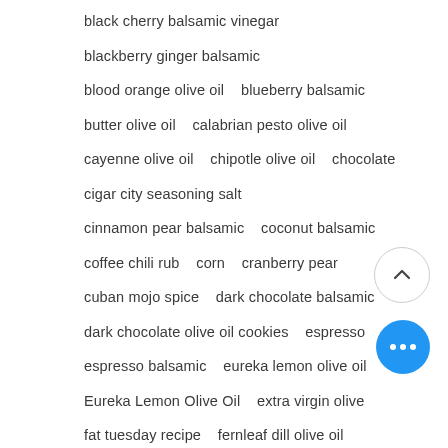black cherry balsamic vinegar
blackberry ginger balsamic
blood orange olive oil   blueberry balsamic
butter olive oil   calabrian pesto olive oil
cayenne olive oil   chipotle olive oil   chocolate
cigar city seasoning salt
cinnamon pear balsamic   coconut balsamic
coffee chili rub   corn   cranberry pear
cuban mojo spice   dark chocolate balsamic
dark chocolate olive oil cookies   espresso
espresso balsamic   eureka lemon olive oil
Eureka Lemon Olive Oil   extra virgin olive
fat tuesday recipe   fernleaf dill olive oil
fig balsamic   garlic olive oil
grapefruit balsamic   Grapefruit White Balsamic